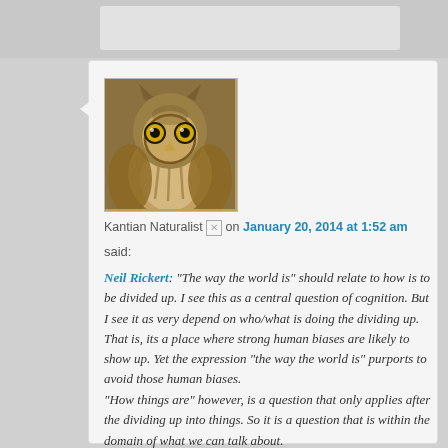[Figure (photo): Profile photo of an owl (great horned owl) with yellow eyes, looking directly at the camera]
Kantian Naturalist on January 20, 2014 at 1:52 am
said:
Neil Rickert: “The way the world is” should relate to how is to be divided up. I see this as a central question of cognition. But I see it as very depend on who/what is doing the dividing up. That is, its a place where strong human biases are likely to show up. Yet the expression “the way the world is” purports to avoid those human biases.
“How things are” however, is a question that only applies after the dividing up into things. So it is a question that is within the domain of what we can talk about.